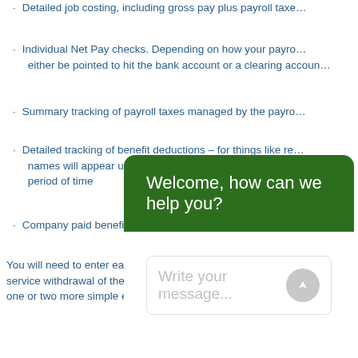Detailed job costing, including gross pay plus payroll taxe…
Individual Net Pay checks. Depending on how your payro… either be pointed to hit the bank account or a clearing accoun…
Summary tracking of payroll taxes managed by the payro…
Detailed tracking of benefit deductions – for things like re… names will appear under liabilities, enabling filtered reports to… period of time
Company paid benefits are not typically included. It can b…
You will need to enter each paycheck to match the payroll ser… service withdrawal of the tax money. Depending on how these… one or two more simple entries to record the movement of mo…
[Figure (other): Chat widget with green header saying 'Welcome, how can we help you?' and a message input field with placeholder 'Write your message...' and a send button.]